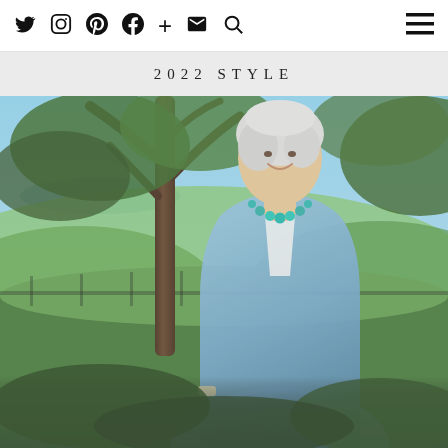Twitter Instagram Pinterest Facebook + Email Search | Menu
2022 STYLE
[Figure (photo): An older woman with short white/silver hair, smiling, wearing a light blue cardigan over a white top with a turquoise bead necklace. She is seated outdoors with trees, green hills, and a glimpse of blue sea in the background.]